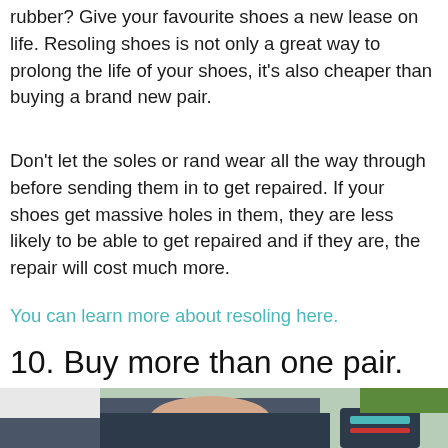rubber? Give your favourite shoes a new lease on life. Resoling shoes is not only a great way to prolong the life of your shoes, it's also cheaper than buying a brand new pair.
Don't let the soles or rand wear all the way through before sending them in to get repaired. If your shoes get massive holes in them, they are less likely to be able to get repaired and if they are, the repair will cost much more.
You can learn more about resoling here.
10. Buy more than one pair.
[Figure (photo): A person sitting with their knees up, wearing sandals, with green grass visible in the background.]